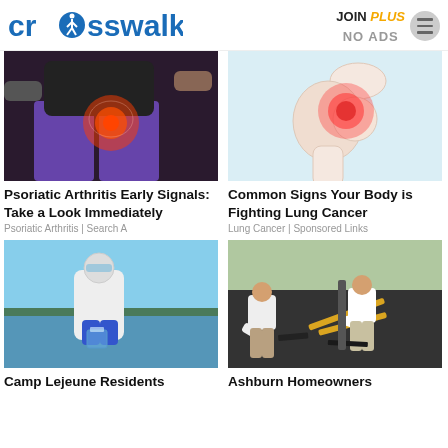[Figure (logo): crosswalk.com logo in blue with walking person icon replacing letter 'o']
JOIN PLUS NO ADS
[Figure (photo): Person in purple pants showing hip/pelvis pain with red glow x-ray illustration]
Psoriatic Arthritis Early Signals: Take a Look Immediately
Psoriatic Arthritis | Search A
[Figure (illustration): Medical illustration of shoulder joint with red pain indicator on light blue background]
Common Signs Your Body is Fighting Lung Cancer
Lung Cancer | Sponsored Links
[Figure (photo): Person in white hazmat suit and blue gloves holding glass beaker near water]
Camp Lejeune Residents
[Figure (photo): Two men bent over doing roofing work with tools on a roof]
Ashburn Homeowners